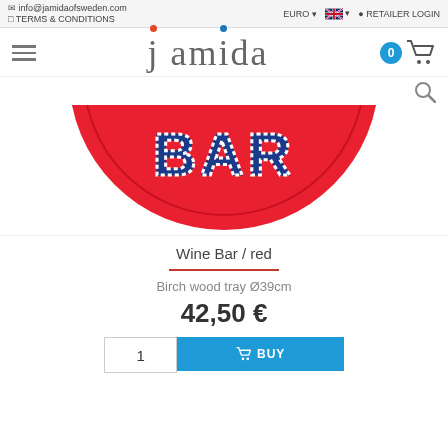info@jamidaofsweden.com | TERMS & CONDITIONS | EURO | RETAILER LOGIN
[Figure (logo): Jamida of Sweden logo with orange dot on j and blue dot on i]
[Figure (photo): Red circular birch wood tray with BAR text in blue, partially visible (top half)]
Wine Bar / red
Birch wood tray Ø39cm
42,50 €
1  BUY